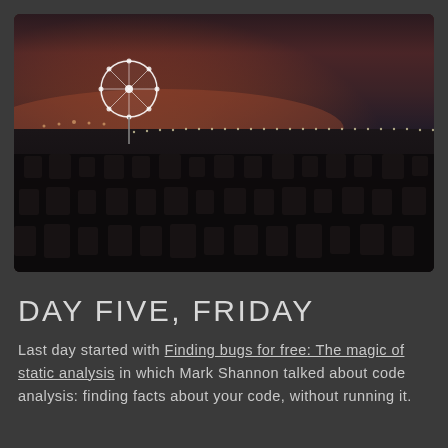[Figure (photo): Dusk/night photo of what appears to be a beach or outdoor festival scene. A lit Ferris wheel glows in the background against a dark orange-purple twilight sky. String lights stretch across the horizon. The foreground shows dark silhouettes of beach chairs or equipment arranged densely.]
DAY FIVE, FRIDAY
Last day started with Finding bugs for free: The magic of static analysis in which Mark Shannon talked about code analysis: finding facts about your code, without running it.